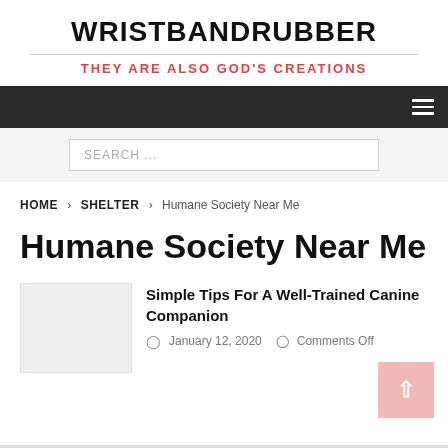WRISTBANDRUBBER
THEY ARE ALSO GOD'S CREATIONS
SEARCH ...
HOME > SHELTER > Humane Society Near Me
Humane Society Near Me
Simple Tips For A Well-Trained Canine Companion
January 12, 2020   Comments Off